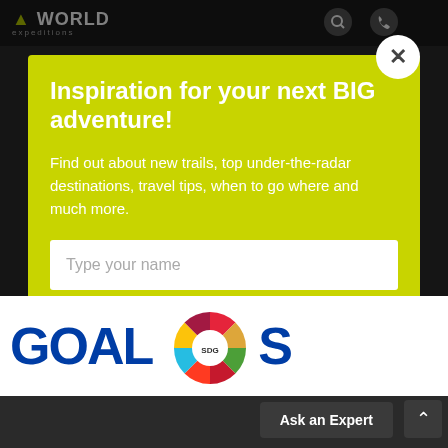[Figure (screenshot): World Expeditions website screenshot showing top navigation bar with logo, search, phone, and menu icons]
Inspiration for your next BIG adventure!
Find out about new trails, top under-the-radar destinations, travel tips, when to go where and much more.
Type your name
Type your email
Submit
Ask an Expert